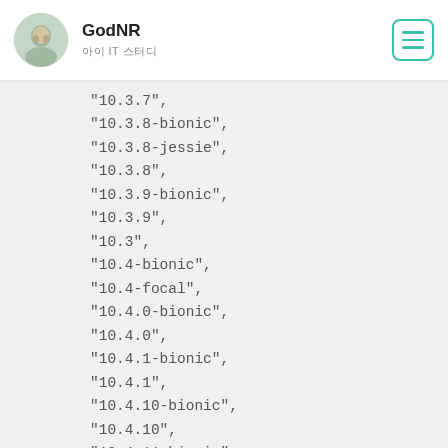GodNR
아이 IT 스터디
"10.3.7",
"10.3.8-bionic",
"10.3.8-jessie",
"10.3.8",
"10.3.9-bionic",
"10.3.9",
"10.3",
"10.4-bionic",
"10.4-focal",
"10.4.0-bionic",
"10.4.0",
"10.4.1-bionic",
"10.4.1",
"10.4.10-bionic",
"10.4.10",
"10.4.11-bionic",
"10.4.11",
"10.4.12-bionic",
"10.4.12",
"10.4.13-bionic",